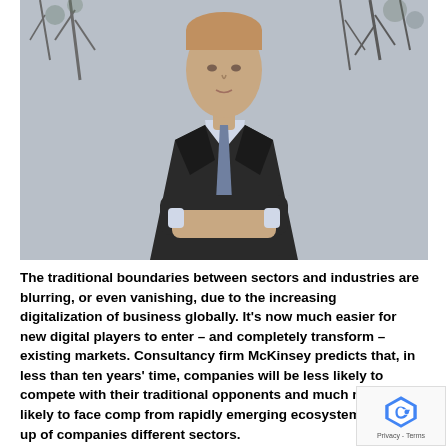[Figure (photo): A man in a dark suit with arms crossed, photographed outdoors against a background of bare trees. He has light/reddish hair and wears a blue-gray tie.]
The traditional boundaries between sectors and industries are blurring, or even vanishing, due to the increasing digitalization of business globally. It's now much easier for new digital players to enter – and completely transform – existing markets. Consultancy firm McKinsey predicts that, in less than ten years' time, companies will be less likely to compete with their traditional opponents and much more likely to face competition from rapidly emerging ecosystems made up of companies from different sectors.